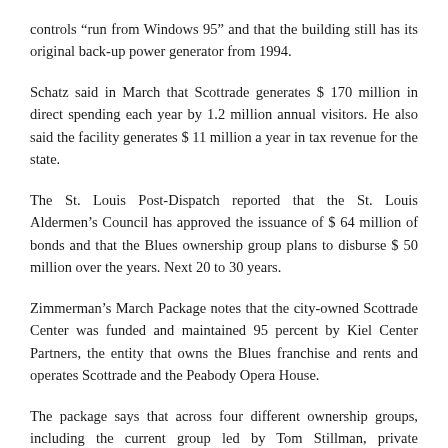controls “run from Windows 95” and that the building still has its original back-up power generator from 1994.
Schatz said in March that Scottrade generates $ 170 million in direct spending each year by 1.2 million annual visitors. He also said the facility generates $ 11 million a year in tax revenue for the state.
The St. Louis Post-Dispatch reported that the St. Louis Aldermen’s Council has approved the issuance of $ 64 million of bonds and that the Blues ownership group plans to disburse $ 50 million over the years. Next 20 to 30 years.
Zimmerman’s March Package notes that the city-owned Scottrade Center was funded and maintained 95 percent by Kiel Center Partners, the entity that owns the Blues franchise and rents and operates Scottrade and the Peabody Opera House.
The package says that across four different ownership groups, including the current group led by Tom Stillman, private investment in the facility by Kiel Center Partners has been around $ 180 million.